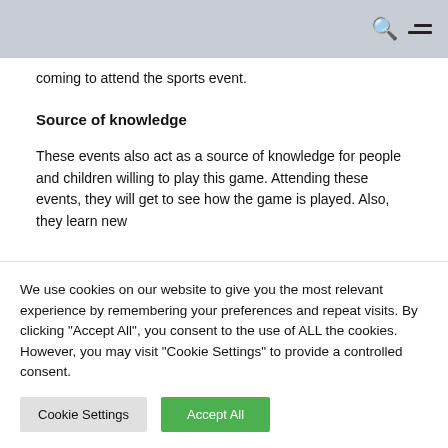coming to attend the sports event.
Source of knowledge
These events also act as a source of knowledge for people and children willing to play this game. Attending these events, they will get to see how the game is played. Also, they learn new
We use cookies on our website to give you the most relevant experience by remembering your preferences and repeat visits. By clicking "Accept All", you consent to the use of ALL the cookies. However, you may visit "Cookie Settings" to provide a controlled consent.
Cookie Settings | Accept All